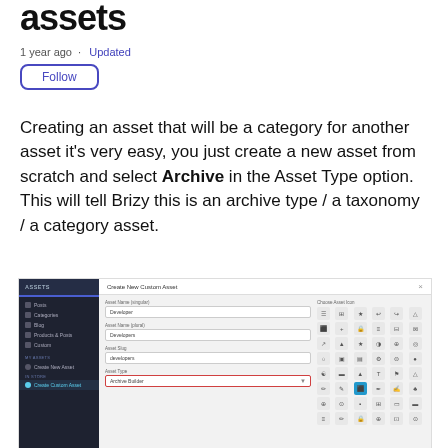assets
1 year ago · Updated
Follow
Creating an asset that will be a category for another asset it's very easy, you just create a new asset from scratch and select Archive in the Asset Type option. This will tell Brizy this is an archive type / a taxonomy / a category asset.
[Figure (screenshot): Screenshot of Brizy CMS interface showing a 'Create New Custom Asset' modal dialog with fields for Asset Name, Asset Slug, and Asset Type (showing 'Archive Builder' selected with a red highlight), alongside a sidebar showing navigation items and an icon picker grid.]